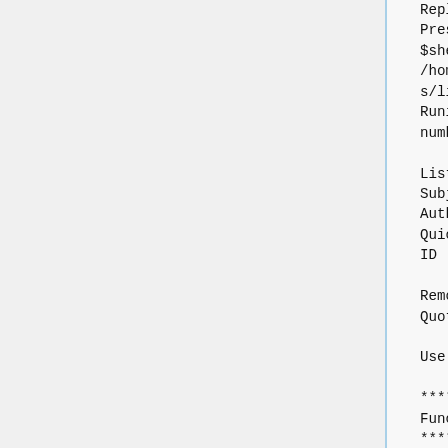Reply
Preset On Reply Run = $shell(MIDASSYS=./home/t2km11/packages/midas/linux/bin/odbedit -d Runinfo -c 'ls -v \"run number\"')

List Display = Date, Subject, Type, System, Author, ID
Quick Filter = Date, Type, ID

Remove on reply = Author
Quote on reply = 1

Use lock = 1

************* Email Functionality
****************

Use Email Subject = [T2KM11 - $System]